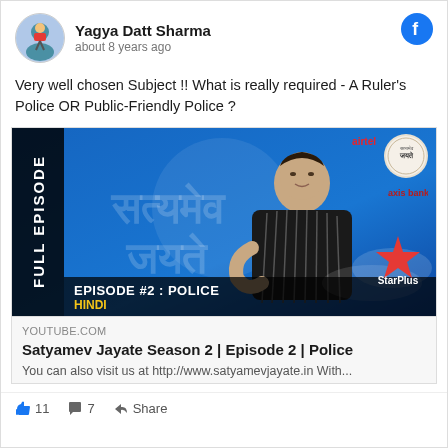Yagya Datt Sharma · about 8 years ago
Very well chosen Subject !! What is really required - A Ruler's Police OR Public-Friendly Police ?
[Figure (screenshot): YouTube video thumbnail for Satyamev Jayate Season 2 Episode 2 Police, showing a man in a striped blazer on a blue background with Hindi text and Star Plus logo. A black side bar reads FULL EPISODE vertically.]
YOUTUBE.COM
Satyamev Jayate Season 2 | Episode 2 | Police
You can also visit us at http://www.satyamevjayate.in With...
11  7  Share